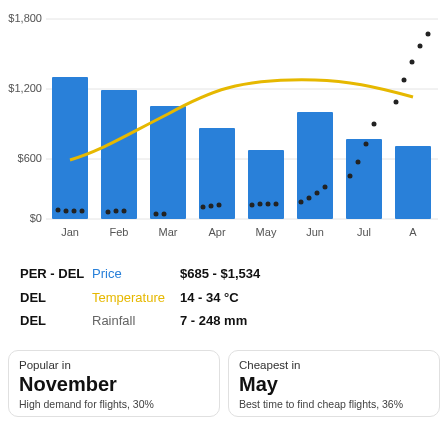[Figure (bar-chart): PER-DEL Flight Prices and DEL Temperature/Rainfall]
PER - DEL   Price   $685 - $1,534
DEL   Temperature   14 - 34 °C
DEL   Rainfall   7 - 248 mm
Popular in
November
High demand for flights, 30%
Cheapest in
May
Best time to find cheap flights, 36%